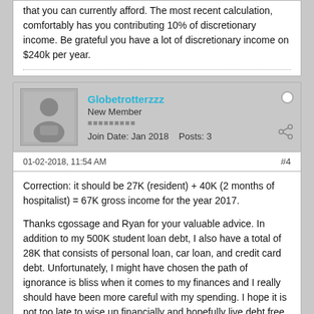that you can currently afford. The most recent calculation, comfortably has you contributing 10% of discretionary income. Be grateful you have a lot of discretionary income on $240k per year.
Globetrotterzzz
New Member
Join Date: Jan 2018    Posts: 3
01-02-2018, 11:54 AM
#4
Correction: it should be 27K (resident) + 40K (2 months of hospitalist) = 67K gross income for the year 2017.
Thanks cgossage and Ryan for your valuable advice.  In addition to my 500K student loan debt, I also have a total of 28K that consists of personal loan, car loan, and credit card debt.  Unfortunately, I might have chosen the path of ignorance is bliss when it comes to my finances and I really should have been more careful with my spending.  I hope it is not too late to wise up financially and hopefully live debt free in the not too far future especially since I have a family to